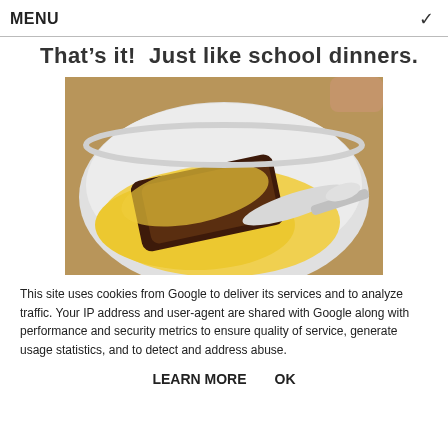MENU ✓
That's it!  Just like school dinners.
[Figure (photo): A white bowl containing a dark chocolate bread pudding with yellow custard sauce and a spoon drizzling custard over it.]
This site uses cookies from Google to deliver its services and to analyze traffic. Your IP address and user-agent are shared with Google along with performance and security metrics to ensure quality of service, generate usage statistics, and to detect and address abuse.
LEARN MORE    OK